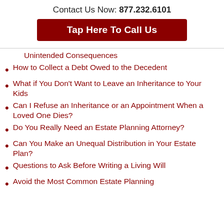Contact Us Now: 877.232.6101
Tap Here To Call Us
Unintended Consequences
How to Collect a Debt Owed to the Decedent
What if You Don't Want to Leave an Inheritance to Your Kids
Can I Refuse an Inheritance or an Appointment When a Loved One Dies?
Do You Really Need an Estate Planning Attorney?
Can You Make an Unequal Distribution in Your Estate Plan?
Questions to Ask Before Writing a Living Will
Avoid the Most Common Estate Planning